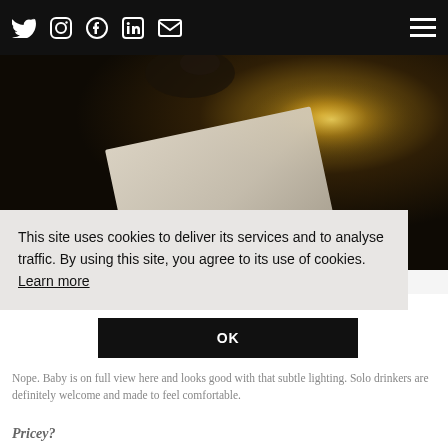Twitter Instagram Facebook LinkedIn Email [hamburger menu]
[Figure (photo): Dark atmospheric restaurant/bar photo showing a white napkin or book on a table, with warm bokeh lighting in the background and a glass or animal figurine silhouette at top]
This site uses cookies to deliver its services and to analyse traffic. By using this site, you agree to its use of cookies. Learn more
OK
Baby in the corner?
Nope. Baby is on full view here and looks good with that subtle lighting. Solo drinkers are definitely welcome and made to feel comfortable.
Pricey?